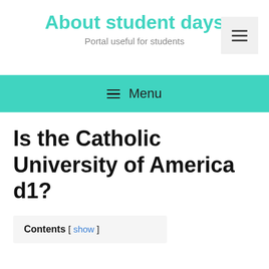About student days
Portal useful for students
≡ Menu
Is the Catholic University of America d1?
Contents [ show ]